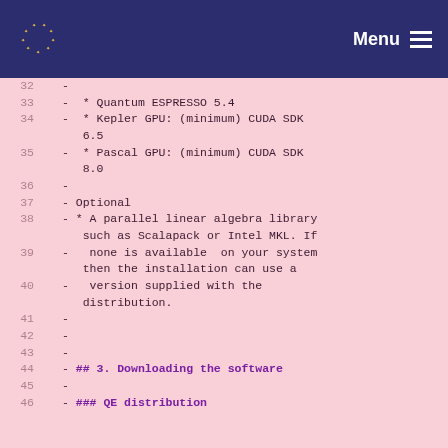Menu
32  -
33  -  * Quantum ESPRESSO 5.4
34  -  * Kepler GPU: (minimum) CUDA SDK 6.5
35  -  * Pascal GPU: (minimum) CUDA SDK 8.0
36  -
37  - Optional
38  - * A parallel linear algebra library such as Scalapack or Intel MKL. If
39  -   none is available  on your system then the installation can use a
40  -   version supplied with the distribution.
41  -
42  -
43  -
44  - ## 3. Downloading the software
45  -
46  - ### QE distribution